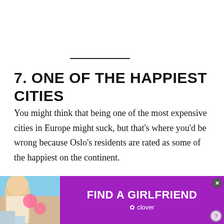7. ONE OF THE HAPPIEST CITIES
You might think that being one of the most expensive cities in Europe might suck, but that’s where you’d be wrong because Oslo’s residents are rated as some of the happiest on the continent.
Luckily, the Krone is strong which means residents can afford to live in this premium destination. The houses ar
[Figure (photo): Advertisement banner: woman with blonde hair holding pink heart balloons, with purple background reading FIND A GIRLFRIEND and clover branding]